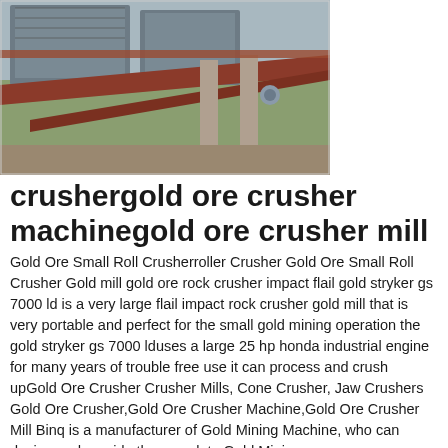[Figure (photo): Industrial mining crusher machinery on a construction site with red steel beams and grey equipment structures]
crushergold ore crusher machinegold ore crusher mill
Gold Ore Small Roll Crusherroller Crusher Gold Ore Small Roll Crusher Gold mill gold ore rock crusher impact flail gold stryker gs 7000 ld is a very large flail impact rock crusher gold mill that is very portable and perfect for the small gold mining operation the gold stryker gs 7000 lduses a large 25 hp honda industrial engine for many years of trouble free use it can process and crush upGold Ore Crusher Crusher Mills, Cone Crusher, Jaw Crushers Gold Ore Crusher,Gold Ore Crusher Machine,Gold Ore Crusher Mill Binq is a manufacturer of Gold Mining Machine, who can design and provide the complete Gold Mining